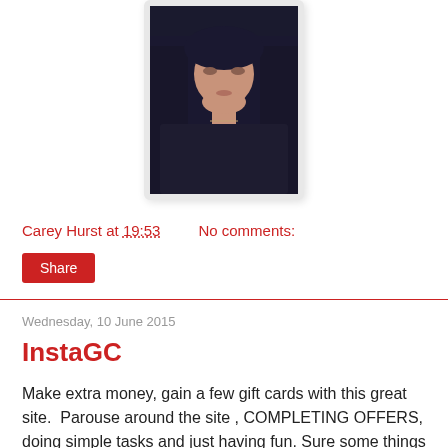[Figure (photo): Portrait photo of a person with long dark hair, in a white-bordered photo frame]
Carey Hurst at 19:53    No comments:
Share
Wednesday, 10 June 2015
InstaGC
Make extra money, gain a few gift cards with this great site.  Parouse around the site , COMPLETING OFFERS, doing simple tasks and just having fun. Sure some things require a